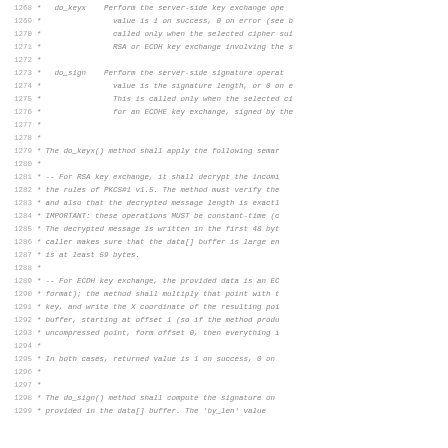Code comment block lines 1268-1299 describing do_keyx and do_sign methods and their semantics for RSA/ECDH key exchange and signature operations.